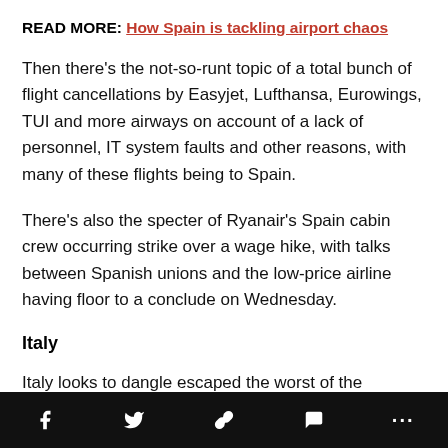READ MORE: How Spain is tackling airport chaos
Then there's the not-so-runt topic of a total bunch of flight cancellations by Easyjet, Lufthansa, Eurowings, TUI and more airways on account of a lack of personnel, IT system faults and other reasons, with many of these flights being to Spain.
There's also the specter of Ryanair's Spain cabin crew occurring strike over a wage hike, with talks between Spanish unions and the low-price airline having floor to a conclude on Wednesday.
Italy
Italy looks to dangle escaped the worst of the disruption considered in diversified areas in Europe, with…
Social share bar: Facebook, Twitter, Link, Comment, More